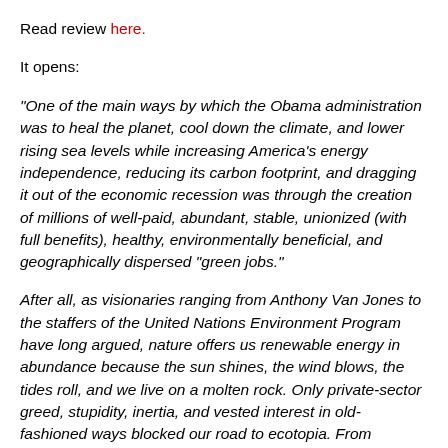Read review here.
It opens:
"One of the main ways by which the Obama administration was to heal the planet, cool down the climate, and lower rising sea levels while increasing America's energy independence, reducing its carbon footprint, and dragging it out of the economic recession was through the creation of millions of well-paid, abundant, stable, unionized (with full benefits), healthy, environmentally beneficial, and geographically dispersed "green jobs."
After all, as visionaries ranging from Anthony Van Jones to the staffers of the United Nations Environment Program have long argued, nature offers us renewable energy in abundance because the sun shines, the wind blows, the tides roll, and we live on a molten rock. Only private-sector greed, stupidity, inertia, and vested interest in old-fashioned ways blocked our road to ecotopia. From Germany and Spain to California and Texas, "constructive government partnerships" fortunately channeled much green (typically c